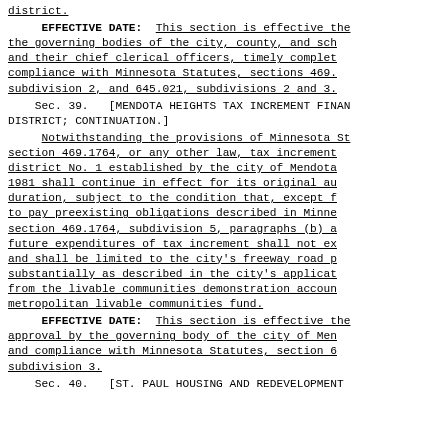district.
EFFECTIVE DATE: This section is effective the the governing bodies of the city, county, and sch and their chief clerical officers, timely complet compliance with Minnesota Statutes, sections 469. subdivision 2, and 645.021, subdivisions 2 and 3.
Sec. 39. [MENDOTA HEIGHTS TAX INCREMENT FINAN DISTRICT; CONTINUATION.]
Notwithstanding the provisions of Minnesota St section 469.1764, or any other law, tax increment district No. 1 established by the city of Mendota 1981 shall continue in effect for its original au duration, subject to the condition that, except f to pay preexisting obligations described in Minne section 469.1764, subdivision 5, paragraphs (b) a future expenditures of tax increment shall not ex and shall be limited to the city's freeway road p substantially as described in the city's applicat from the livable communities demonstration accoun metropolitan livable communities fund.
EFFECTIVE DATE: This section is effective the approval by the governing body of the city of Men and compliance with Minnesota Statutes, section 6 subdivision 3.
Sec. 40. [ST. PAUL HOUSING AND REDEVELOPMENT